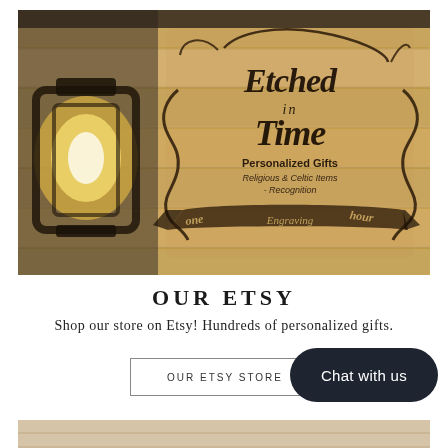[Figure (photo): A wooden sign for 'Etched in Time – Personalized Gifts, Religious & Celtic Items, Recognition, One Hour Engraving' mounted on a wooden plank wall, with a vintage Edison bulb lantern in the foreground left.]
OUR ETSY
Shop our store on Etsy! Hundreds of personalized gifts.
OUR ETSY STORE
Chat with us
[Figure (photo): Bottom portion of another photo, showing a light-colored wooden or stone surface.]